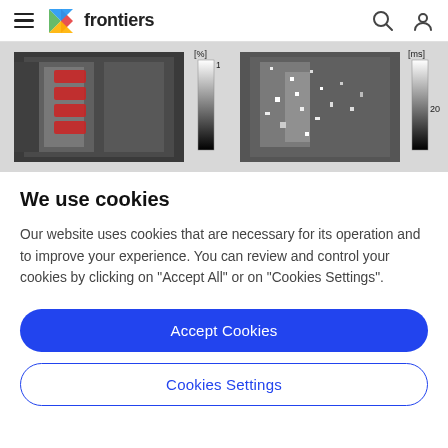frontiers
[Figure (photo): MRI scan images showing spinal anatomy. Left image: grayscale MRI with red highlighted vertebrae. Right image: grayscale MRI with noise/artifact pattern. Both images have colorbar scales beside them showing [%] 100 and [ms] 20 respectively.]
We use cookies
Our website uses cookies that are necessary for its operation and to improve your experience. You can review and control your cookies by clicking on "Accept All" or on "Cookies Settings".
Accept Cookies
Cookies Settings